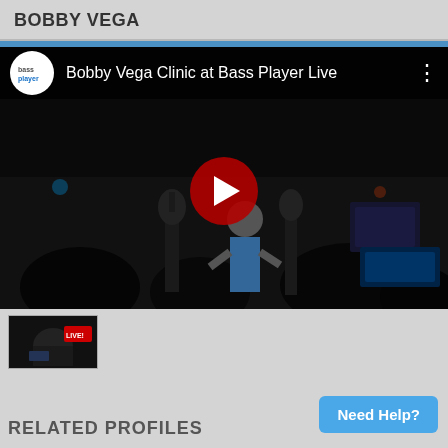BOBBY VEGA
[Figure (screenshot): YouTube video embed showing Bobby Vega Clinic at Bass Player Live. Dark stage scene with performer, bass guitars, amplifiers, and a 'Bass Player LIVE!' banner. Red YouTube play button in center.]
[Figure (photo): Small thumbnail image of the Bobby Vega clinic stage scene, shown below the main video player.]
Need Help?
RELATED PROFILES